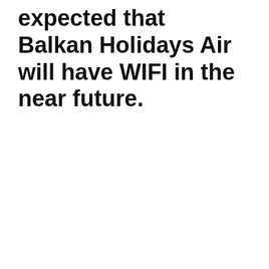expected that Balkan Holidays Air will have WIFI in the near future.